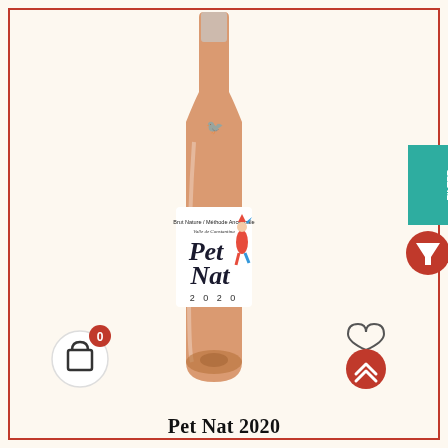[Figure (photo): A bottle of Pet Nat 2020 sparkling wine with an orange/amber color, featuring a label with a jester illustration and handwritten-style text reading 'Pet Nat 2020', with text 'Brut Nature / Méthode Ancestrale, Valle de Constantina' on the label.]
[Figure (illustration): Shopping cart icon with a red badge showing '0' in the bottom left corner]
[Figure (illustration): Heart icon above a red circle with a chevron/arrow up icon, in the bottom right corner]
[Figure (illustration): Green FILTER tab on the right edge with a funnel/filter icon below it]
Pet Nat 2020